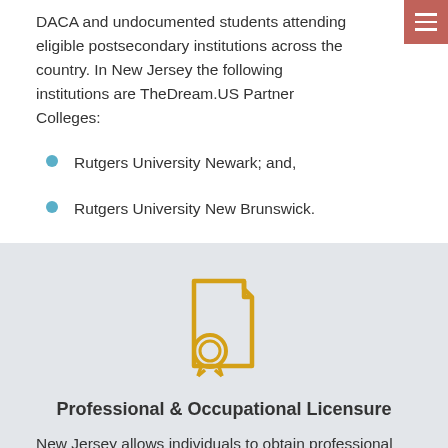DACA and undocumented students attending eligible postsecondary institutions across the country. In New Jersey the following institutions are TheDream.US Partner Colleges:
Rutgers University Newark; and,
Rutgers University New Brunswick.
[Figure (illustration): Gold/yellow icon of a certificate document with a seal/ribbon badge, on a light gray background]
Professional & Occupational Licensure
New Jersey allows individuals to obtain professional and occupational licensure regardless of their immigration status.